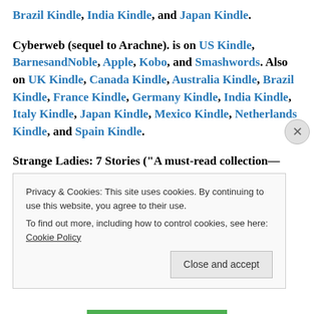Brazil Kindle, India Kindle, and Japan Kindle.
Cyberweb (sequel to Arachne). is on US Kindle, BarnesandNoble, Apple, Kobo, and Smashwords. Also on UK Kindle, Canada Kindle, Australia Kindle, Brazil Kindle, France Kindle, Germany Kindle, India Kindle, Italy Kindle, Japan Kindle, Mexico Kindle, Netherlands Kindle, and Spain Kindle.
Strange Ladies: 7 Stories (“A must-read collection—The San Francisco Review of Books). On Nook, US Kindle, Canada Kindle, UK Kindle, Smashwords
Privacy & Cookies: This site uses cookies. By continuing to use this website, you agree to their use.
To find out more, including how to control cookies, see here: Cookie Policy